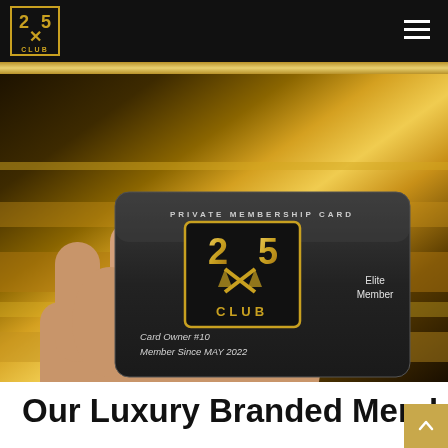25X Club logo and navigation
[Figure (photo): A hand holding a dark metallic Private Membership Card for 25X Club. The card shows '25X CLUB' logo in gold, 'PRIVATE MEMBERSHIP CARD' text, 'Elite Member', 'Card Owner #10', 'Member Since MAY 2022'. Background has gold and dark brown stripe tones.]
Our Luxury Branded Merch